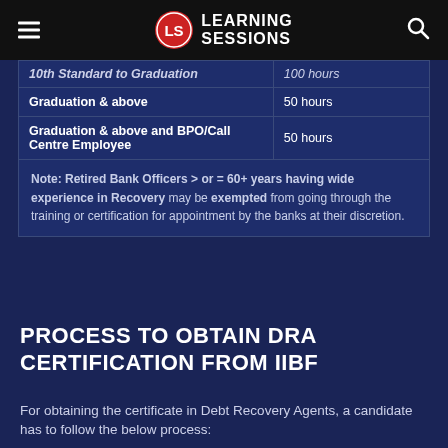LEARNING SESSIONS
| 10th Standard to Graduation | 100 hours |
| Graduation & above | 50 hours |
| Graduation & above and BPO/Call Centre Employee | 50 hours |
| Note: Retired Bank Officers > or = 60+ years having wide experience in Recovery may be exempted from going through the training or certification for appointment by the banks at their discretion. |  |
PROCESS TO OBTAIN DRA CERTIFICATION FROM IIBF
For obtaining the certificate in Debt Recovery Agents, a candidate has to follow the below process: